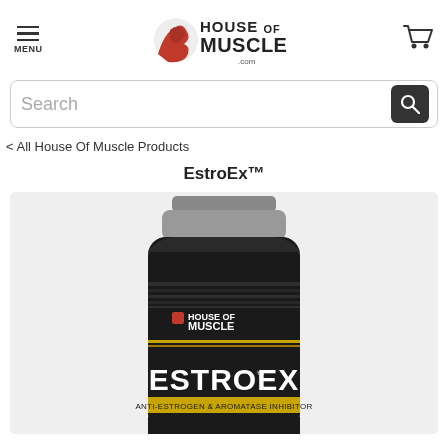MENU | House of Muscle | Cart
Search
< All House Of Muscle Products
EstroEx™
[Figure (photo): A black supplement bottle labeled EstroEx by House of Muscle, with text 'Anti-Estrogen & Aromatase Inhibitor' on the label, showing the top portion of the bottle against a light gray background.]